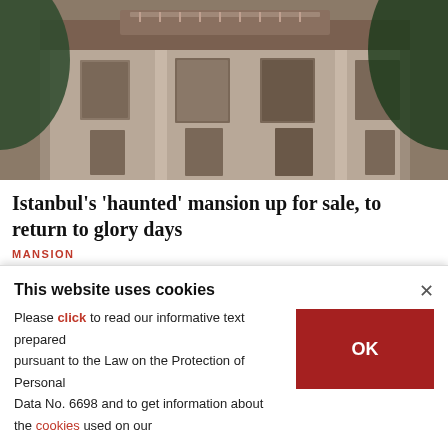[Figure (photo): Aerial/facade view of an old historic ornate wooden mansion building in Istanbul, showing weathered exterior with decorative balconies and windows]
Istanbul's 'haunted' mansion up for sale, to return to glory days
MANSION
[Figure (photo): Aerial view of a city neighborhood in Turkey showing a mosque with golden domes and minarets surrounded by residential apartment buildings and trees]
This website uses cookies
Please click to read our informative text prepared pursuant to the Law on the Protection of Personal Data No. 6698 and to get information about the cookies used on our